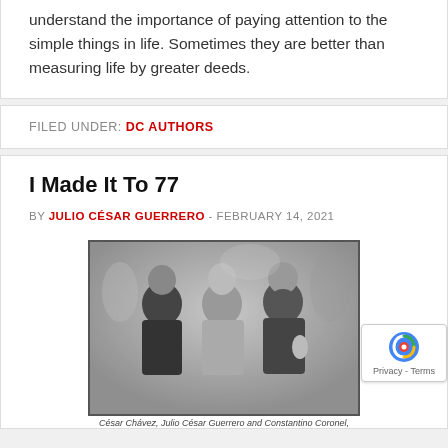understand the importance of paying attention to the simple things in life. Sometimes they are better than measuring life by greater deeds.
FILED UNDER: DC AUTHORS
I Made It To 77
BY JULIO CÉSAR GUERRERO - FEBRUARY 14, 2021
[Figure (photo): Black and white photograph of three people standing together outdoors. Caption reads: César Chávez, Julio César Guerrero and Constantino Coronel,]
César Chávez, Julio César Guerrero and Constantino Coronel,